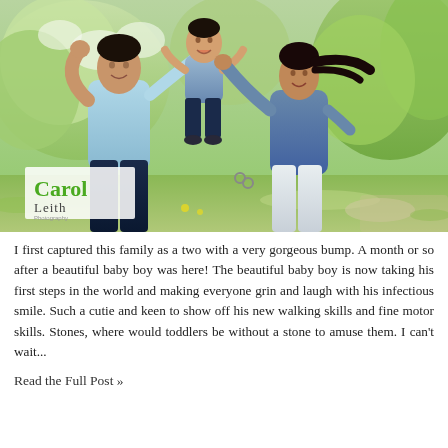[Figure (photo): A family of three in a park setting: a man on the left in a light blue polo shirt, a woman on the right in a denim jacket and white jeans, and a baby boy in a blue outfit being lifted up between them. Green flowering trees in the background. A Carol Leith photography logo watermark is visible in the lower left of the photo.]
I first captured this family as a two with a very gorgeous bump. A month or so after a beautiful baby boy was here! The beautiful baby boy is now taking his first steps in the world and making everyone grin and laugh with his infectious smile. Such a cutie and keen to show off his new walking skills and fine motor skills. Stones, where would toddlers be without a stone to amuse them. I can't wait...
Read the Full Post »